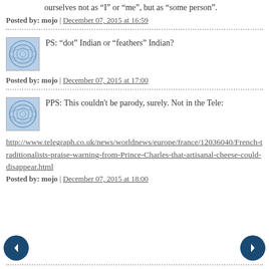ourselves not as "I" or "me", but as "some person".
Posted by: mojo | December 07, 2015 at 16:59
PS: "dot" Indian or "feathers" Indian?
Posted by: mojo | December 07, 2015 at 17:00
PPS: This couldn't be parody, surely. Not in the Tele:
http://www.telegraph.co.uk/news/worldnews/europe/france/12036040/French-traditionalists-praise-warning-from-Prince-Charles-that-artisanal-cheese-could-disappear.html
Posted by: mojo | December 07, 2015 at 18:00